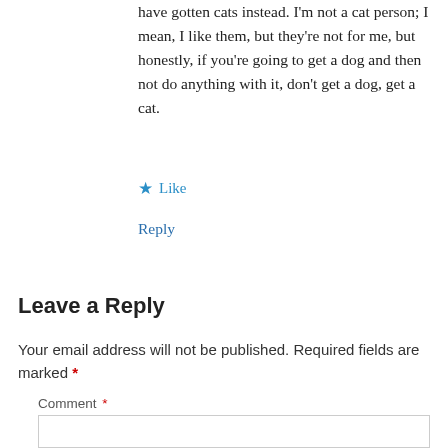have gotten cats instead. I'm not a cat person; I mean, I like them, but they're not for me, but honestly, if you're going to get a dog and then not do anything with it, don't get a dog, get a cat.
★ Like
Reply
Leave a Reply
Your email address will not be published. Required fields are marked *
Comment *